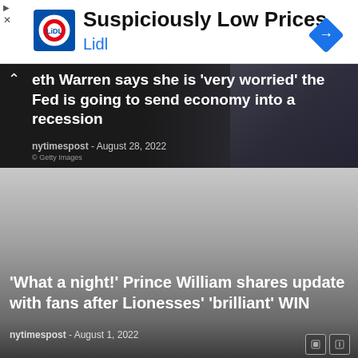[Figure (logo): Lidl advertisement banner with Lidl logo, text 'Suspiciously Low Prices' and 'Lidl', and a blue navigation icon]
eth Warren says she is 'very worried' the Fed is going to send economy into a recession
nytimespost - August 28, 2022
© Getty Images
[Figure (photo): Gradient grey area representing a blurred/loading image background]
'What a night!' Prince William shares update with fans after Lionesses' 'brilliant' WIN
nytimespost - August 1, 2022